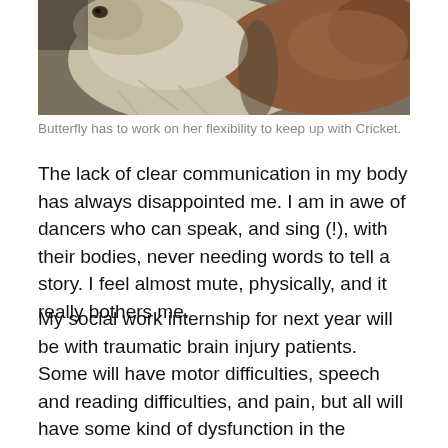[Figure (photo): Close-up photograph of two horses (one lighter/white, one darker/reddish-brown) seen from above, their bodies pressed close together.]
Butterfly has to work on her flexibility to keep up with Cricket.
The lack of clear communication in my body has always disappointed me. I am in awe of dancers who can speak, and sing (!), with their bodies, never needing words to tell a story. I feel almost mute, physically, and it really bothers me.
My social work internship for next year will be with traumatic brain injury patients. Some will have motor difficulties, speech and reading difficulties, and pain, but all will have some kind of dysfunction in the connections in their brains. Even if every distinct brain region is working fine, the communication between the areas will be muddled in one way or another, and I think that being able